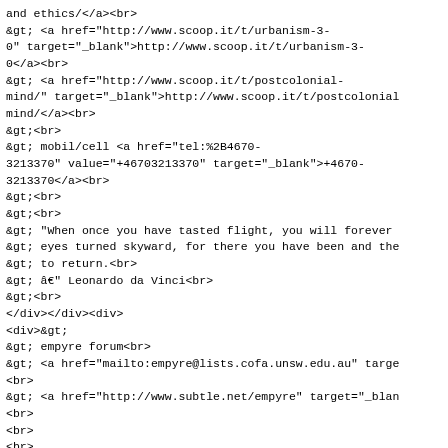and ethics/</a><br>
&gt; <a href="http://www.scoop.it/t/urbanism-3-0" target="_blank">http://www.scoop.it/t/urbanism-3-0</a><br>
&gt; <a href="http://www.scoop.it/t/postcolonial-mind/" target="_blank">http://www.scoop.it/t/postcolonial-mind/</a><br>
&gt;<br>
&gt; mobil/cell <a href="tel:%2B46703213370" value="+46703213370" target="_blank">+4670-3213370</a><br>
&gt;<br>
&gt;<br>
&gt; "When once you have tasted flight, you will forever
&gt; eyes turned skyward, for there you have been and the
&gt; to return.<br>
&gt; â€" Leonardo da Vinci<br>
&gt;<br>
</div></div><div>
<div>&gt;
&gt; empyre forum<br>
&gt; <a href="mailto:empyre@lists.cofa.unsw.edu.au" target
<br>
&gt; <a href="http://www.subtle.net/empyre" target="_blan
<br>
<br>
<br>
<br>
</div></div><span><font color="#888888">--<br>
<a href="http://www.waitingforcargo.net" target="_blank">
<br>